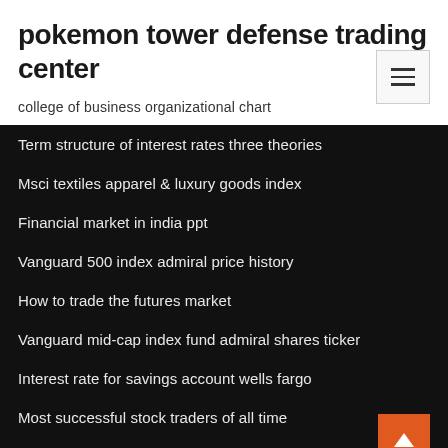pokemon tower defense trading center
college of business organizational chart
Term structure of interest rates three theories
Msci textiles apparel & luxury goods index
Financial market in india ppt
Vanguard 500 index admiral price history
How to trade the futures market
Vanguard mid-cap index fund admiral shares ticker
Interest rate for savings account wells fargo
Most successful stock traders of all time
Ismf china